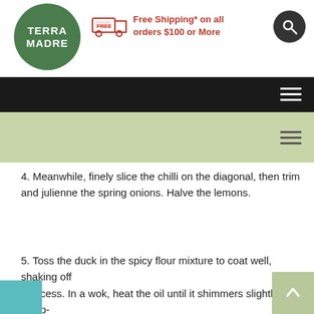TERRA MADRE — Free Shipping* on all orders $100 or More
4. Meanwhile, finely slice the chilli on the diagonal, then trim and julienne the spring onions. Halve the lemons.
5. Toss the duck in the spicy flour mixture to coat well, shaking off any excess. In a wok, heat the oil until it shimmers slightly. Deep-fry the duck for about 2 minutes, or until just cooked through and lightly browned. Drain well on kitchen paper.
6. Cut the duck on the diagonal into 1cm slices and arrange on a serving platter with a small bowl of sichuan seasoning.